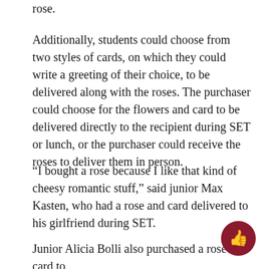rose.
Additionally, students could choose from two styles of cards, on which they could write a greeting of their choice, to be delivered along with the roses. The purchaser could choose for the flowers and card to be delivered directly to the recipient during SET or lunch, or the purchaser could receive the roses to deliver them in person.
“I bought a rose because I like that kind of cheesy romantic stuff,” said junior Max Kasten, who had a rose and card delivered to his girlfriend during SET.
Junior Alicia Bolli also purchased a rose and card to